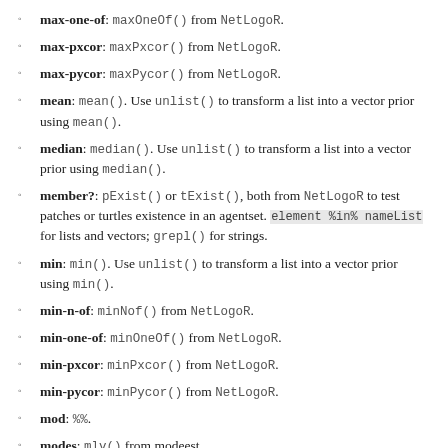max-one-of: maxOneOf() from NetLogoR.
max-pxcor: maxPxcor() from NetLogoR.
max-pycor: maxPycor() from NetLogoR.
mean: mean(). Use unlist() to transform a list into a vector prior using mean().
median: median(). Use unlist() to transform a list into a vector prior using median().
member?: pExist() or tExist(), both from NetLogoR to test patches or turtles existence in an agentset. element %in% nameList for lists and vectors; grepl() for strings.
min: min(). Use unlist() to transform a list into a vector prior using min().
min-n-of: minNof() from NetLogoR.
min-one-of: minOneOf() from NetLogoR.
min-pxcor: minPxcor() from NetLogoR.
min-pycor: minPycor() from NetLogoR.
mod: %%.
modes: mlv() from modeest.
mouse-down?: not implemented.